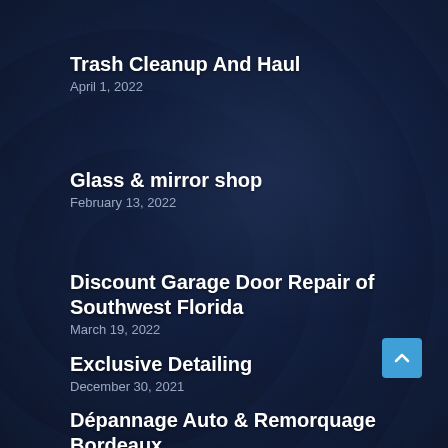Trash Cleanup And Haul
April 1, 2022
Glass & mirror shop
February 13, 2022
Discount Garage Door Repair of Southwest Florida
March 19, 2022
Exclusive Detailing
December 30, 2021
Dépannage Auto & Remorquage Bordeaux
January 11, 2022